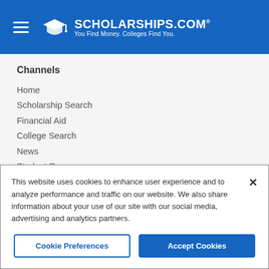[Figure (logo): Scholarships.com logo with graduation cap icon, white text on blue background. Tagline: You Find Money. Colleges Find You.]
Channels
Home
Scholarship Search
Financial Aid
College Search
News
Student Resources
Educators
Submit A Scholarship
This website uses cookies to enhance user experience and to analyze performance and traffic on our website. We also share information about your use of our site with our social media, advertising and analytics partners.
Cookie Preferences | Accept Cookies